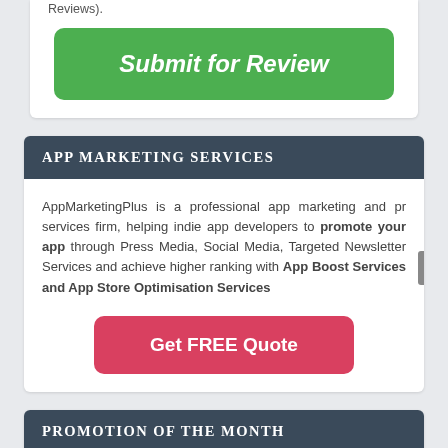Reviews).
[Figure (other): Green 'Submit for Review' button]
APP MARKETING SERVICES
AppMarketingPlus is a professional app marketing and pr services firm, helping indie app developers to promote your app through Press Media, Social Media, Targeted Newsletter Services and achieve higher ranking with App Boost Services and App Store Optimisation Services
[Figure (other): Red/pink 'Get FREE Quote' button]
PROMOTION OF THE MONTH